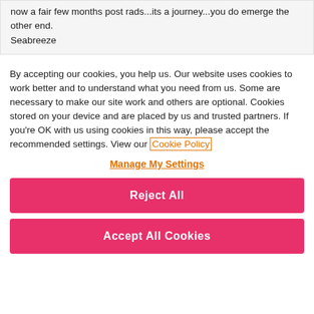now a fair few months post rads...its a journey...you do emerge the other end. Seabreeze
By accepting our cookies, you help us. Our website uses cookies to work better and to understand what you need from us. Some are necessary to make our site work and others are optional. Cookies stored on your device and are placed by us and trusted partners. If you're OK with us using cookies in this way, please accept the recommended settings. View our Cookie Policy
Manage My Settings
Reject All
Accept All Cookies